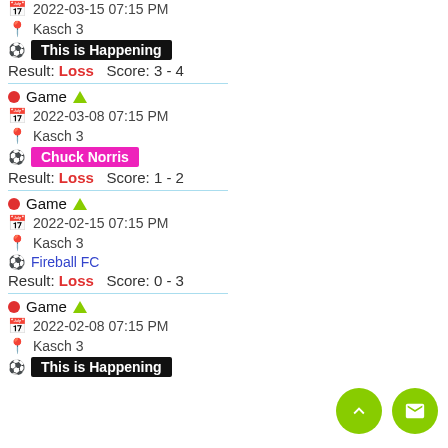Game | 2022-03-15 07:15 PM | Kasch 3 | This is Happening | Result: Loss  Score: 3 - 4
Game | 2022-03-08 07:15 PM | Kasch 3 | Chuck Norris | Result: Loss  Score: 1 - 2
Game | 2022-02-15 07:15 PM | Kasch 3 | Fireball FC | Result: Loss  Score: 0 - 3
Game | 2022-02-08 07:15 PM | Kasch 3 | This is Happening